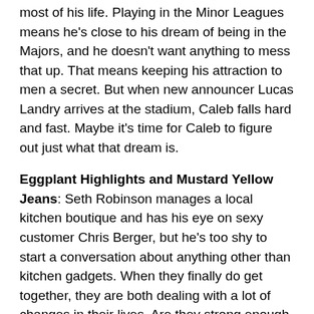most of his life. Playing in the Minor Leagues means he's close to his dream of being in the Majors, and he doesn't want anything to mess that up. That means keeping his attraction to men a secret. But when new announcer Lucas Landry arrives at the stadium, Caleb falls hard and fast. Maybe it's time for Caleb to figure out just what that dream is.
Eggplant Highlights and Mustard Yellow Jeans: Seth Robinson manages a local kitchen boutique and has his eye on sexy customer Chris Berger, but he's too shy to start a conversation about anything other than kitchen gadgets. When they finally do get together, they are both dealing with a lot of changes in their lives. Are they strong enough to work together and find their happily ever after?
Evan's Fantasy: Evan is crazy about his roommate's best friend, Nick, but keeps it secret. When he's caught in a compromising position, moaning Nick's name, the cat's out of the bag, but it turns out Nick wants to play. Two sexy men discover they are both into being dominant. Can they...